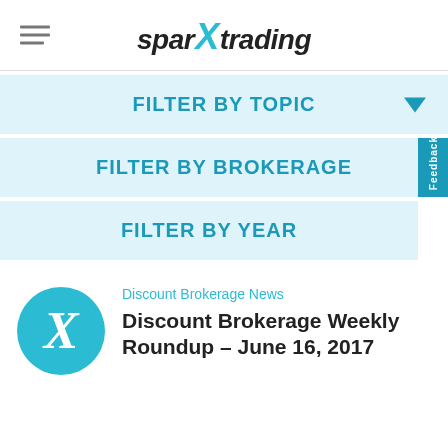sparX trading
FILTER BY TOPIC
FILTER BY BROKERAGE
FILTER BY YEAR
Discount Brokerage News
Discount Brokerage Weekly Roundup – June 16, 2017